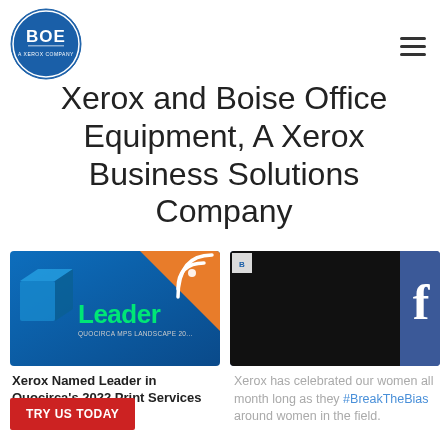[Figure (logo): BOE - A Xerox Company circular logo in blue and white]
Xerox and Boise Office Equipment, A Xerox Business Solutions Company
[Figure (photo): Xerox Named Leader banner image with blue background, orange triangle, RSS icon, and text 'Leader QUOCIRCA MPS LANDSCAPE 20...']
Xerox Named Leader in Quocirca's 2022 Print Services Market Landscape
[Figure (screenshot): Facebook post thumbnail - dark/black image with Facebook icon in upper right, partially visible logo in upper left]
Xerox has celebrated our women all month long as they #BreakTheBias around women in the field.